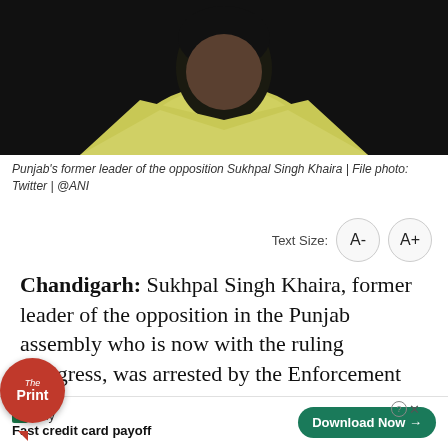[Figure (photo): Photo of Sukhpal Singh Khaira, a man wearing a light yellow/green sleeveless jacket over a white shirt, dark background]
Punjab's former leader of the opposition Sukhpal Singh Khaira | File photo: Twitter | @ANI
Text Size: A- A+
Chandigarh: Sukhpal Singh Khaira, former leader of the opposition in the Punjab assembly who is now with the ruling Congress, was arrested by the Enforcement Directorate on Thursday in a case under the Prevention of Money Laundering Act (PMLA). The arrest came six months after his residence in Chandigarh was r
[Figure (logo): The Print logo - red circle with 'The Print' text and speech bubble tail]
tally Fast credit card payoff Download Now →